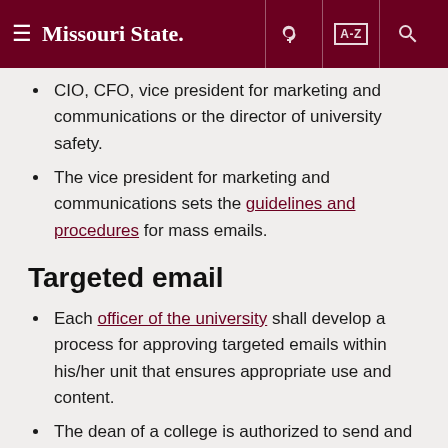Missouri State [navigation header with menu, key, A-Z, search icons]
CIO, CFO, vice president for marketing and communications or the director of university safety.
The vice president for marketing and communications sets the guidelines and procedures for mass emails.
Targeted email
Each officer of the university shall develop a process for approving targeted emails within his/her unit that ensures appropriate use and content.
The dean of a college is authorized to send and approve targeted emails to students who are majoring in programs offered by the college or who are enrolled in courses offered by